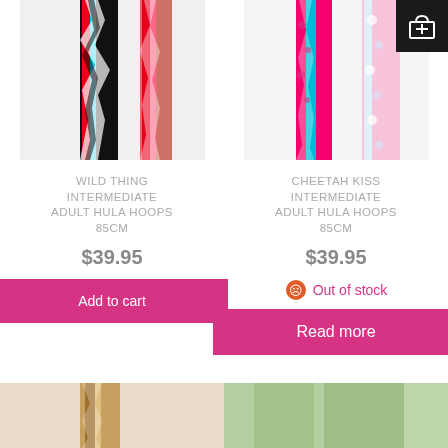[Figure (photo): Wild Thing Intermediate Adult Hula Hoop product image showing colorful striped hoop in black, red, white, teal colors]
WILD THING INTERMEDIATE ADULT HULA HOOPS 85CM
$39.95
Add to cart
[Figure (photo): Cheetah Kiss Intermediate Adult Hula Hoop product image showing pink, teal, and floral patterned hoop]
CHEETAH KISS INTERMEDIATE ADULT HULA HOOPS 85CM
$39.95
Out of stock
Read more
[Figure (photo): Bottom partial product images showing two more hula hoops]
[Figure (logo): Shopping cart icon in white on black background]